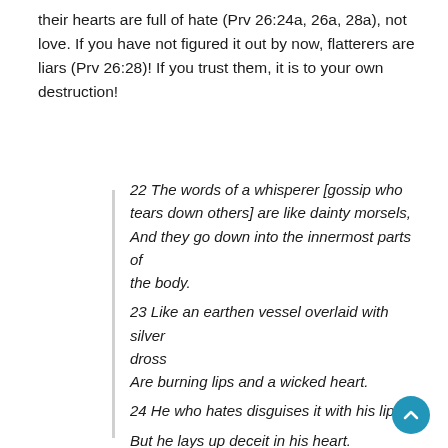their hearts are full of hate (Prv 26:24a, 26a, 28a), not love.  If you have not figured it out by now, flatterers are liars (Prv 26:28)!  If you trust them, it is to your own destruction!
22 The words of a whisperer [gossip who tears down others] are like dainty morsels, And they go down into the innermost parts of the body.
23 Like an earthen vessel overlaid with silver dross
Are burning lips and a wicked heart.
24 He who hates disguises it with his lips,
But he lays up deceit in his heart.
25 When he speaks graciously [with a charming voice], do not believe him,